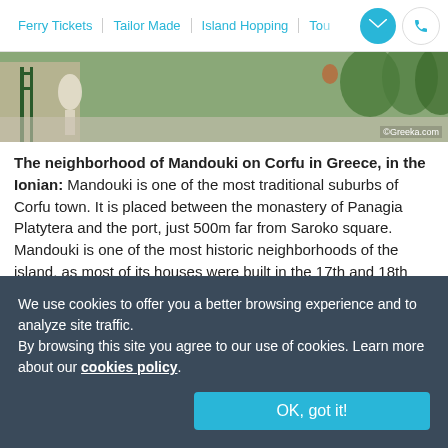Ferry Tickets | Tailor Made | Island Hopping | To...
[Figure (photo): Street scene in Mandouki neighborhood, Corfu, Greece, showing a white statue, green gate, and trees along a sidewalk. Credit: ©Greeka.com]
The neighborhood of Mandouki on Corfu in Greece, in the Ionian: Mandouki is one of the most traditional suburbs of Corfu town. It is placed between the monastery of Panagia Platytera and the port, just 500m far from Saroko square. Mandouki is one of the most historic neighborhoods of the island, as most of its houses were built in the 17th and 18th centuries in the traditional Venetian architecture.
We use cookies to offer you a better browsing experience and to analyze site traffic.
By browsing this site you agree to our use of cookies. Learn more about our cookies policy
OK, got it!